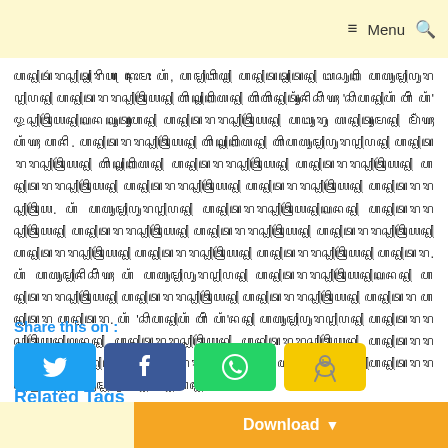≡ Menu 🔍
ꦲꦤ꧀ꦠꦂꦫꦱ꧀ꦠ꧀ꦫꦶꦪ ꦤꦺꦴꦩꦺꦴ ꦲꦁ, ꦲꦩ꧀ꦧꦶꦭ꧀ ꦲꦤ꧀ꦠꦠ꧀ꦠꦤ꧀ ꦧꦱꦸꦏꦶ ꦲꦭꦸꦩ꧀ꦥꦸꦫꦥ꧀ꦥꦤ꧀ ꦲꦤ꧀ꦠꦫꦫꦱ꧀ꦠꦿꦶꦪꦤ꧀ ꦭꦶꦏ꧀ꦏꦶꦭꦤ꧀ ꦭꦶꦭꦶꦤ꧀ꦠꦸꦁꦤꦶꦱꦶꦁꦒꦃ 'ꦱꦶꦲꦤ꧀ꦲꦁ ꦲꦶꦁ ꦲꦁ' ꦎꦱ꧀ꦠꦿꦶꦪꦤ꧀ꦏꦤꦏꦸꦠꦸꦃꦲꦤ꧀ ꦲꦤ꧀ꦠꦫꦫꦱ꧀ꦠꦿꦶꦪꦤ꧀ ꦲꦧꦸꦫꦸ ꦭꦤ꧀ꦠꦸꦩꦤ꧀ ꦩꦼꦁꦒꦃ ꦲꦁꦒꦃ ꦲꦤꦶ. ꦲꦤ꧀ꦠꦫꦫꦱ꧀ꦠꦿꦶꦪꦤ꧀ ꦭꦶꦏ꧀ꦏꦶꦭꦤ꧀ ꦭꦶꦲꦭꦸꦩ꧀ꦥꦸꦫꦥ꧀ꦥꦤ꧀ ꦲꦤ꧀ꦠꦫꦫꦱ꧀ꦠꦿꦶꦪꦤ꧀ ꦭꦶꦏ꧀ꦏꦶꦭꦤ꧀ ꦲꦤ꧀ꦠꦫꦫꦱ꧀ꦠꦿꦶꦪꦤ꧀ ꦲꦤ꧀ꦠꦫꦫꦱ꧀ꦠꦿꦶꦪꦤ꧀ ꦲꦤ꧀ꦠꦫꦫꦱ꧀ꦠꦿꦶꦪꦤ꧀ ꦲꦤ꧀ꦠꦫꦫꦱ꧀ꦠꦿꦶꦪꦤ꧀ ꦲꦤ꧀ꦠꦫꦫꦱ꧀ꦠꦿꦶꦪ. ꦲꦁ ꦲꦭꦸꦩ꧀ꦥꦸꦫꦥ꧀ꦥꦤ꧀ ꦲꦤ꧀ꦠꦫꦫꦱ꧀ꦠꦿꦶꦪꦤ꧀ꦏꦤꦤ꧀ ꦲꦤ꧀ꦠꦫꦫꦱ꧀ꦠꦿꦶꦪꦤ꧀ ꦲꦤ꧀ꦠꦫꦫꦱ꧀ꦠꦿꦶꦪꦤ꧀ ꦲꦤ꧀ꦠꦫꦫꦱ꧀ꦠꦿꦶꦪꦤ꧀ ꦲꦤ꧀ꦠꦫꦫꦱ꧀ꦠꦿꦶꦪꦤ꧀ ꦲꦤ꧀ꦠꦫꦫꦱ꧀ꦠꦿꦶꦪꦤ꧀ ꦲꦤ꧀ꦠꦫꦫꦱ꧀ꦠꦿꦶꦪꦤ꧀ ꦲꦤ꧀ꦠꦫꦫꦱ꧀ꦠꦿꦶꦪꦤ꧀ ꦲꦤ꧀ꦠꦫ. ꦲꦁ ꦲꦭꦸꦩ꧀ꦤꦶꦱꦶꦁꦒꦃ ꦲꦁ ꦲꦭꦸꦩ꧀ꦥꦸꦫꦥ꧀ꦥꦤ꧀ ꦲꦤ꧀ꦠꦫꦫꦱ꧀ꦠꦿꦶꦪꦤ꧀ꦏꦤꦤ꧀ ꦲꦤ꧀ꦠꦫꦫꦱ꧀ꦠꦿꦶꦪꦤ꧀ ꦲꦤ꧀ꦠꦫꦫꦱ꧀ꦠꦿꦶꦪꦤ꧀ ꦲꦤ꧀ꦠꦫꦫꦱ꧀ꦠꦿꦶꦪꦤ꧀ ꦲꦤ꧀ꦠꦫ ꦲꦤ꧀ꦠꦫ ꦲꦤ꧀ꦠꦫ. ꦲꦁ 'ꦱꦶꦲꦤ꧀ꦲꦁ ꦲꦶꦁ ꦲꦁ'ꦤꦤ꧀ ꦲꦭꦸꦩ꧀ꦥꦸꦫꦥ꧀ꦥꦤ꧀ ꦲꦤ꧀ꦠꦫꦫꦱ꧀ꦠꦿꦶꦪꦤ꧀ꦏꦤꦤ꧀ ꦲꦤ꧀ꦠꦫꦫꦱ꧀ꦠꦿꦶꦪꦤ꧀ ꦲꦤ꧀ꦠꦫꦫꦱ꧀ꦠꦿꦶꦪꦤ꧀ ꦲꦤ꧀ꦠꦫꦫꦱ꧀ꦠꦿꦶꦪꦤ꧀ ꦲꦤ꧀ꦠꦫ ꦲꦤ꧀ꦠꦫꦫꦱ꧀ꦠꦿꦶꦪꦤ꧀ ꦲꦭꦸꦩ꧀ꦥꦸꦫꦥ꧀ꦥꦤ꧀ꦲꦤ꧀ꦠꦫꦫꦱ꧀ꦠꦿꦶꦪꦤ꧀ ꦲꦭꦸꦩ꧀ꦥꦸꦫꦥ꧀ꦥꦤ꧀ ꦲꦤ꧀ꦠꦫ.
Share this on :
[Figure (other): Social share buttons: Twitter (blue), Facebook (dark blue), WhatsApp (green), Koo (yellow with bird icon)]
Related Tags
ꦲꦤ꧀ꦠ
ꦲꦭꦸꦩ꧀ꦥꦸꦫꦥ꧀ꦥꦤ꧀
ꦲꦤ꧀ꦠꦫꦫꦱ꧀ꦠꦿꦶꦪꦤ꧀
Download ▾